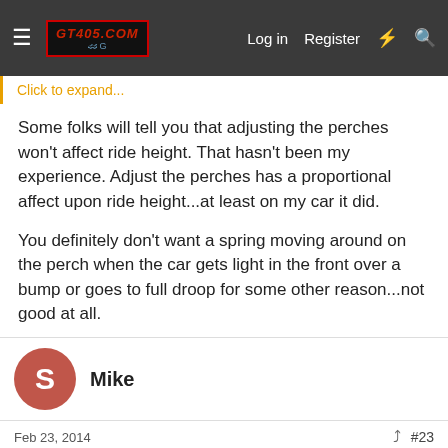GT405.COM — Log in | Register
Click to expand...
Some folks will tell you that adjusting the perches won't affect ride height. That hasn't been my experience. Adjust the perches has a proportional affect upon ride height...at least on my car it did.
You definitely don't want a spring moving around on the perch when the car gets light in the front over a bump or goes to full droop for some other reason...not good at all.
Mike
Feb 23, 2014  #23
Re: Wheel Camber Settings/Ride Height